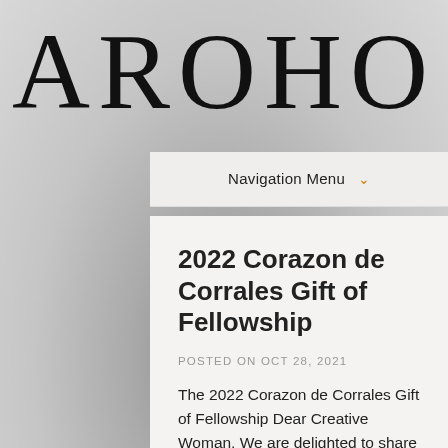AROHO
Navigation Menu
2022 Corazon de Corrales Gift of Fellowship
POSTED ON OCT 28, 2021
The 2022 Corazon de Corrales Gift of Fellowship Dear Creative Woman, We are delighted to share